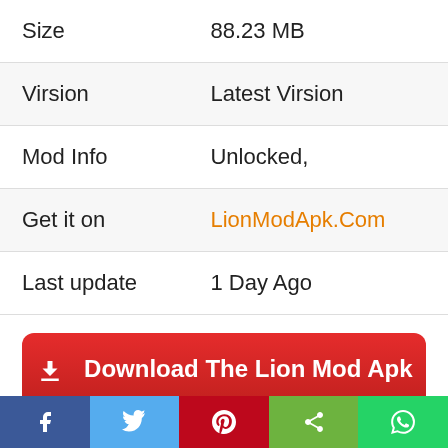| Property | Value |
| --- | --- |
| Size | 88.23 MB |
| Virsion | Latest Virsion |
| Mod Info | Unlocked, |
| Get it on | LionModApk.Com |
| Last update | 1 Day Ago |
Download The Lion Mod Apk
Amazing Graphics
Decide which attributes to expand and which